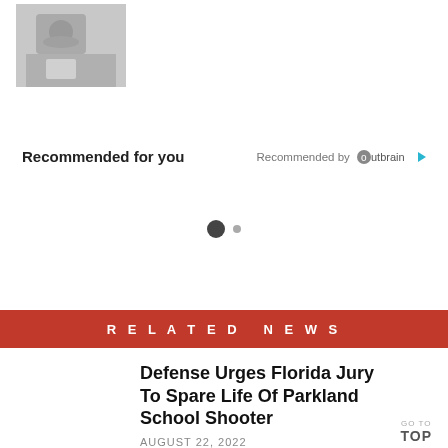Recommended for you
Recommended by Outbrain
[Figure (other): Loading spinner dots]
RELATED NEWS
[Figure (photo): Photo of Parkland school shooter in courtroom]
Defense Urges Florida Jury To Spare Life Of Parkland School Shooter
AUGUST 22, 2022